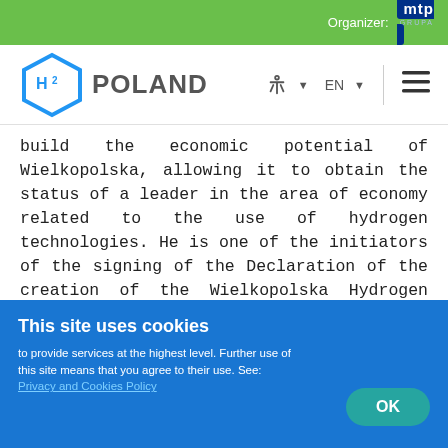Organizer: mtp GRUPA
[Figure (logo): H2 Poland website logo with hexagon H2 icon and POLAND text, navigation bar with accessibility icon, EN language selector, and hamburger menu]
build the economic potential of Wielkopolska, allowing it to obtain the status of a leader in the area of economy related to the use of hydrogen technologies. He is one of the initiators of the signing of the Declaration of the creation of the Wielkopolska Hydrogen Valley, which enables the creation of a coordinated and integrated ecosystem of connections supporting the development of technology, knowledge, business and education, contributing to the decarbonisation of the economy in favour of climate neutrality, while respecting social challenges related to transformation. From September
This site uses cookies
to provide services at the highest level. Further use of this site means that you agree to their use. See: Privacy and Cookies Policy